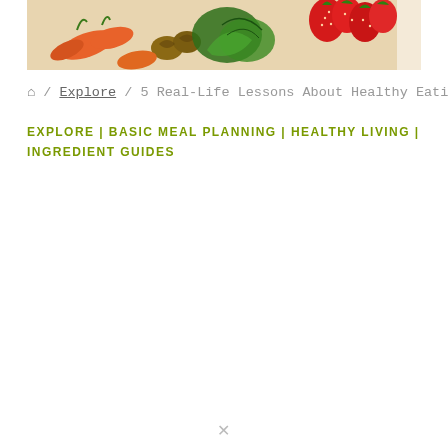[Figure (photo): Colorful assortment of fresh vegetables, fruits, nuts and leafy greens including carrots, strawberries, walnuts, and spinach]
🏠 / Explore / 5 Real-Life Lessons About Healthy Eating
EXPLORE | BASIC MEAL PLANNING | HEALTHY LIVING | INGREDIENT GUIDES